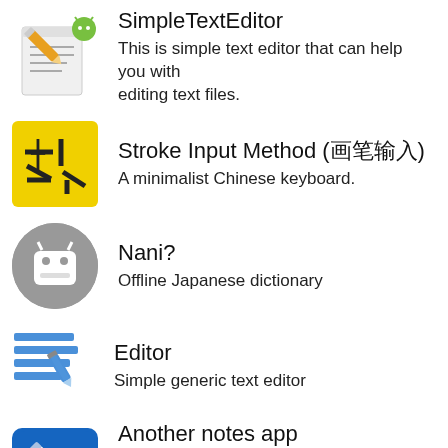SimpleTextEditor — This is simple text editor that can help you with editing text files.
Stroke Input Method (笔画输入法) — A minimalist Chinese keyboard.
Nani? — Offline Japanese dictionary
Editor — Simple generic text editor
Another notes app — Another notes app, like there have been tens of thousands before.
moreDays — A motivation app with journaling
Notes